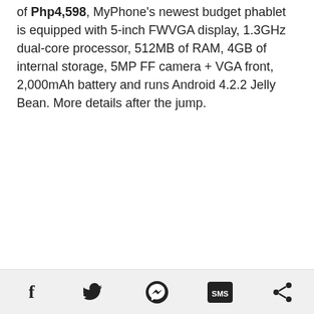of Php4,598, MyPhone's newest budget phablet is equipped with 5-inch FWVGA display, 1.3GHz dual-core processor, 512MB of RAM, 4GB of internal storage, 5MP FF camera + VGA front, 2,000mAh battery and runs Android 4.2.2 Jelly Bean. More details after the jump.
[Figure (other): Social sharing footer bar with icons: Facebook, Twitter, Messenger, SMS, Share]